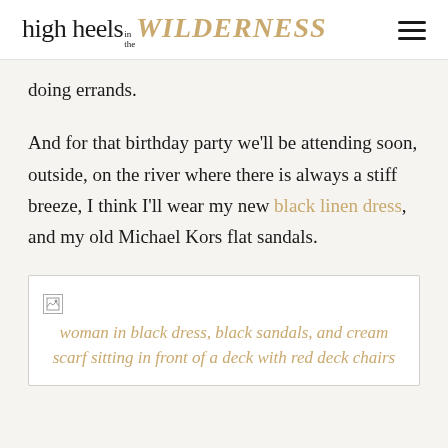high heels in the WILDERNESS
doing errands.
And for that birthday party we'll be attending soon, outside, on the river where there is always a stiff breeze, I think I'll wear my new black linen dress, and my old Michael Kors flat sandals.
[Figure (photo): woman in black dress, black sandals, and cream scarf sitting in front of a deck with red deck chairs]